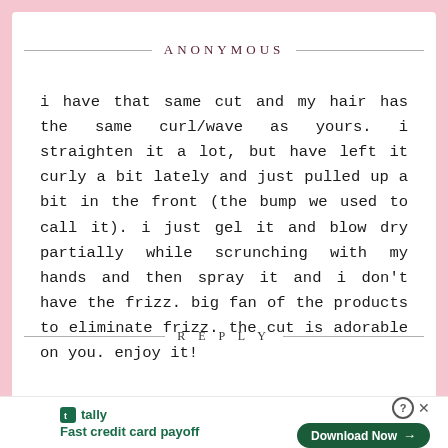ANONYMOUS
i have that same cut and my hair has the same curl/wave as yours. i straighten it a lot, but have left it curly a bit lately and just pulled up a bit in the front (the bump we used to call it). i just gel it and blow dry partially while scrunching with my hands and then spray it and i don't have the frizz. big fan of the products to eliminate frizz. the cut is adorable on you. enjoy it!
REPLY
[Figure (infographic): Advertisement bar: tally logo with 'Fast credit card payoff' tagline and 'Download Now' button]